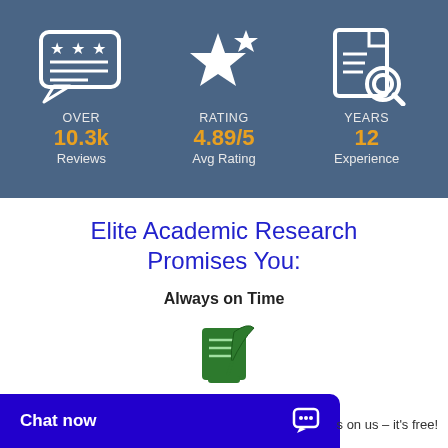[Figure (infographic): Blue banner with three stat blocks: Reviews icon (speech bubble with 3 stars), OVER 10.3k Reviews; Rating icon (large star with small star), RATING 4.89/5 Avg Rating; Years icon (document with magnifier), YEARS 12 Experience]
Elite Academic Research Promises You:
Always on Time
[Figure (illustration): Green scroll/quill writing icon]
Chat now   s on us – it's free!